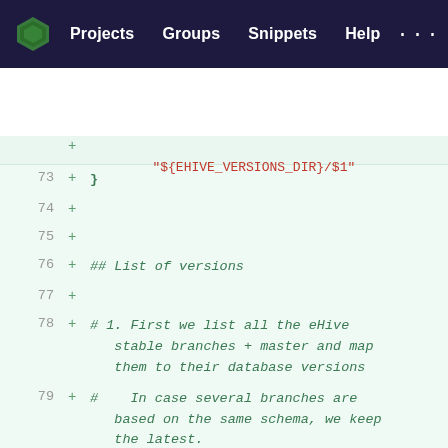Projects  Groups  Snippets  Help  ...
[Figure (screenshot): GitLab code diff view showing lines 73-83 of a shell script with added lines (marked with +). Lines include: closing brace, blank lines, ## List of versions comment, numbered comments about listing eHive stable branches and master, database versions, guiHive versions, add_guihive_version calls with version strings '56', 'db_version/56', 'version/2.0', and '62'.]